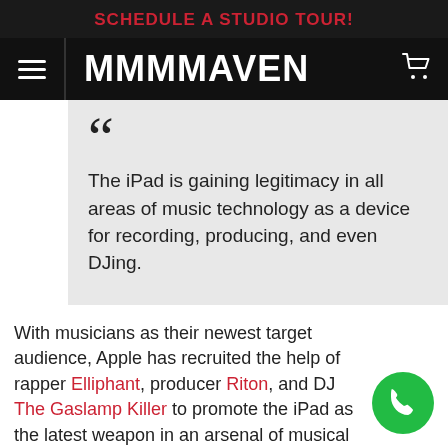SCHEDULE A STUDIO TOUR!
MMMMAVEN
The iPad is gaining legitimacy in all areas of music technology as a device for recording, producing, and even DJing.
With musicians as their newest target audience, Apple has recruited the help of rapper Elliphant, producer Riton, and DJ The Gaslamp Killer to promote the iPad as the latest weapon in an arsenal of musical innovation.